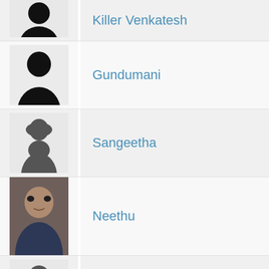Killer Venkatesh
Gundumani
Sangeetha
Neethu
Jr Silk Smitha